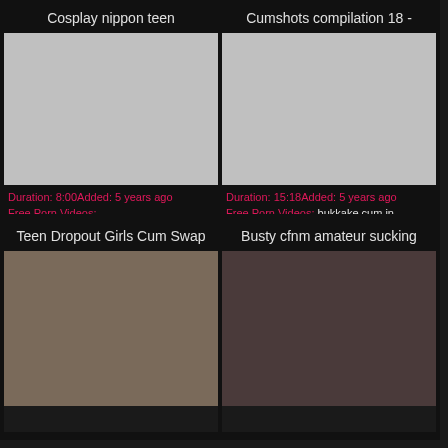Cosplay nippon teen
[Figure (photo): Placeholder gray thumbnail for cosplay nippon teen video]
Duration: 8:00Added: 5 years ago Free Porn Videos:
Cumshots compilation 18 -
[Figure (photo): Placeholder gray thumbnail for cumshots compilation 18 video]
Duration: 15:18Added: 5 years ago Free Porn Videos: bukkake cum in
Teen Dropout Girls Cum Swap
[Figure (photo): Thumbnail showing group scene for Teen Dropout Girls Cum Swap video]
Busty cfnm amateur sucking
[Figure (photo): Thumbnail showing adult content for Busty cfnm amateur sucking video]